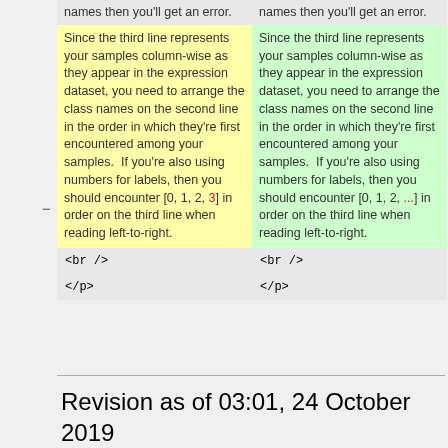| (old) | (new) |
| --- | --- |
| names then you'll get an error. | names then you'll get an error. |
| Since the third line represents your samples column-wise as they appear in the expression dataset, you need to arrange the class names on the second line in the order in which they're first encountered among your samples. If you're also using numbers for labels, then you should encounter [0, 1, 2, 3] in order on the third line when reading left-to-right. | Since the third line represents your samples column-wise as they appear in the expression dataset, you need to arrange the class names on the second line in the order in which they're first encountered among your samples. If you're also using numbers for labels, then you should encounter [0, 1, 2, ...] in order on the third line when reading left-to-right. |
| <br /> | <br /> |
| </p> | </p> |
Revision as of 03:01, 24 October 2019